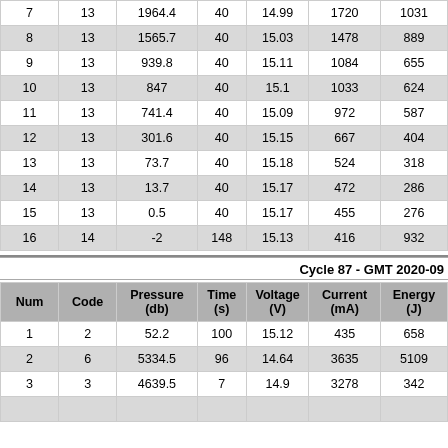| 7 | 13 | 1964.4 | 40 | 14.99 | 1720 | 1031 |
| 8 | 13 | 1565.7 | 40 | 15.03 | 1478 | 889 |
| 9 | 13 | 939.8 | 40 | 15.11 | 1084 | 655 |
| 10 | 13 | 847 | 40 | 15.1 | 1033 | 624 |
| 11 | 13 | 741.4 | 40 | 15.09 | 972 | 587 |
| 12 | 13 | 301.6 | 40 | 15.15 | 667 | 404 |
| 13 | 13 | 73.7 | 40 | 15.18 | 524 | 318 |
| 14 | 13 | 13.7 | 40 | 15.17 | 472 | 286 |
| 15 | 13 | 0.5 | 40 | 15.17 | 455 | 276 |
| 16 | 14 | -2 | 148 | 15.13 | 416 | 932 |
Cycle 87 - GMT 2020-09
| Num | Code | Pressure (db) | Time (s) | Voltage (V) | Current (mA) | Energy (J) |
| --- | --- | --- | --- | --- | --- | --- |
| 1 | 2 | 52.2 | 100 | 15.12 | 435 | 658 |
| 2 | 6 | 5334.5 | 96 | 14.64 | 3635 | 5109 |
| 3 | 3 | 4639.5 | 7 | 14.9 | 3278 | 342 |